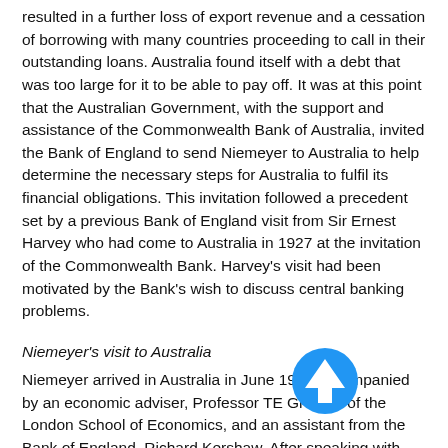resulted in a further loss of export revenue and a cessation of borrowing with many countries proceeding to call in their outstanding loans. Australia found itself with a debt that was too large for it to be able to pay off. It was at this point that the Australian Government, with the support and assistance of the Commonwealth Bank of Australia, invited the Bank of England to send Niemeyer to Australia to help determine the necessary steps for Australia to fulfil its financial obligations. This invitation followed a precedent set by a previous Bank of England visit from Sir Ernest Harvey who had come to Australia in 1927 at the invitation of the Commonwealth Bank. Harvey's visit had been motivated by the Bank's wish to discuss central banking problems.
Niemeyer's visit to Australia
Niemeyer arrived in Australia in June 1930 accompanied by an economic adviser, Professor TE Gregory of the London School of Economics, and an assistant from the Bank of England, Richard Kershaw. After speaking with senior officials and the heads of the banks, Niemeyer presented his findings and recommendations at the Melbourne Conference of Commonwealth and State leaders on 21 August 1930. Niemeyer held the strong belief that Australians were overconfident and too optimistic about the country's future. They were living beyond their means with living standards and wages too high and now the 'cold hard facts must be faced'. His advice was that wages must be reduced, the Australian Loan Council must not raise any further loans overseas
[Figure (infographic): A blue upward-pointing arrow icon overlaid on the text, indicating a scroll-up or navigation-up action.]